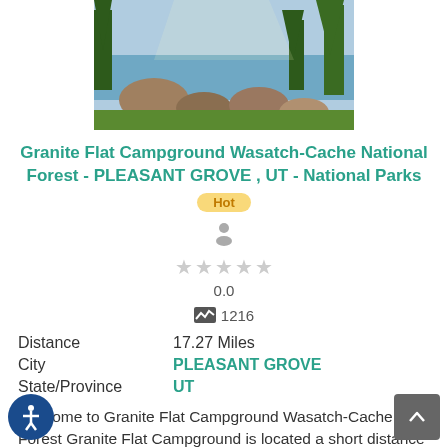[Figure (photo): Scenic outdoor photo showing rocks, trees, and a body of water in a national forest setting]
Granite Flat Campground Wasatch-Cache National Forest - PLEASANT GROVE , UT - National Parks
Hot
0.0
1216
| Distance | 17.27 Miles |
| City | PLEASANT GROVE |
| State/Province | UT |
Welcome to Granite Flat Campground Wasatch-Cache onal Forest Granite Flat Campground is located a short distance up scenic American Fork Canyon, less